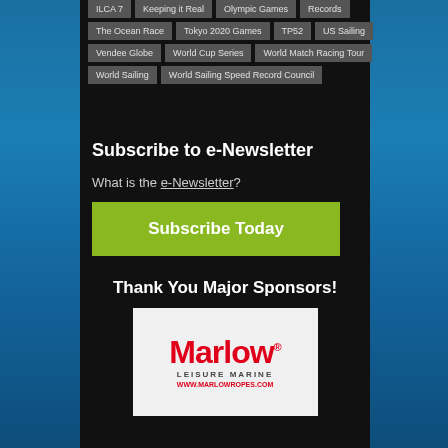ILCA 7 | Keeping it Real | Olympic Games | Records
The Ocean Race | Tokyo 2020 Games | TP52 | US Sailing
Vendee Globe | World Cup Series | World Match Racing Tour
World Sailing | World Sailing Speed Record Council
Subscribe to e-Newsletter
What is the e-Newsletter?
Subscribe Today
Thank You Major Sponsors!
[Figure (logo): Marlow Leisure Marine logo with red text on light grey background, with URL below]